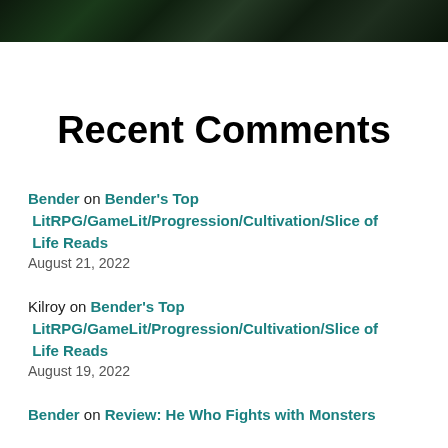[Figure (photo): Dark foliage/nature photo strip at top of page]
Recent Comments
Bender on Bender's Top LitRPG/GameLit/Progression/Cultivation/Slice of Life Reads
August 21, 2022
Kilroy on Bender's Top LitRPG/GameLit/Progression/Cultivation/Slice of Life Reads
August 19, 2022
Bender on Review: He Who Fights with Monsters